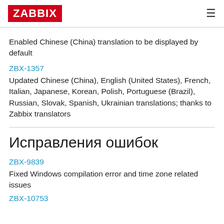ZABBIX
Enabled Chinese (China) translation to be displayed by default
ZBX-1357
Updated Chinese (China), English (United States), French, Italian, Japanese, Korean, Polish, Portuguese (Brazil), Russian, Slovak, Spanish, Ukrainian translations; thanks to Zabbix translators
Исправления ошибок
ZBX-9839
Fixed Windows compilation error and time zone related issues
ZBX-10753